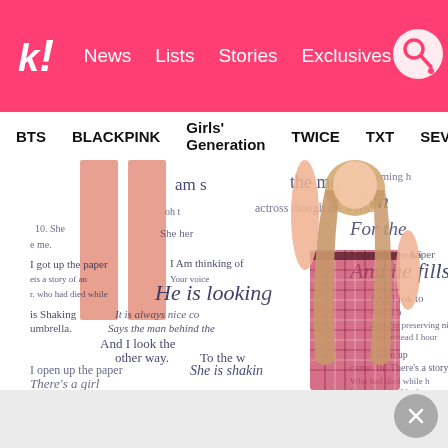k! News Lists Stories Exclusives
BTS BLACKPINK Girls' Generation TWICE TXT SEVE
[Figure (photo): A young woman with long blonde hair wearing a red/pink plaid sleeveless dress, posing with one arm raised. Background is white with handwritten song lyrics in dark ink. On the left side there are two tall rectangular shapes in peach/salmon color. Various handwritten text fragments are visible: 'am s', 'the monkey', 'For the', 'I open up the paper', 'And he fills it', 'I got up the paper', 'I Am thinking of', 'Your voice', 'He is looking', 'And I look the other way. To the w', 'is Shaking', 'It is always nice co', 'umbrella. Says the man behind the', 'And I look to', 'As this a', 'And I'm preserving nice to', 'And instead I hour', 'I open up', 'came. In', 'There's a story', 'Who had died while h', 'It was no one I had', 'She is shakin', 'There's a girl']